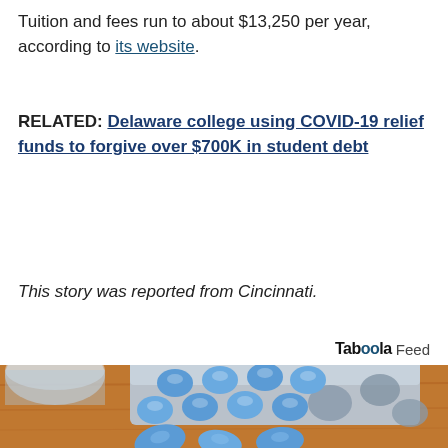Tuition and fees run to about $13,250 per year, according to its website.
RELATED: Delaware college using COVID-19 relief funds to forgive over $700K in student debt
This story was reported from Cincinnati.
Taboola Feed
[Figure (photo): A blister pack of blue pills on a wooden surface, with a glass in the background. Several blue oval tablets lie in front of the pack.]